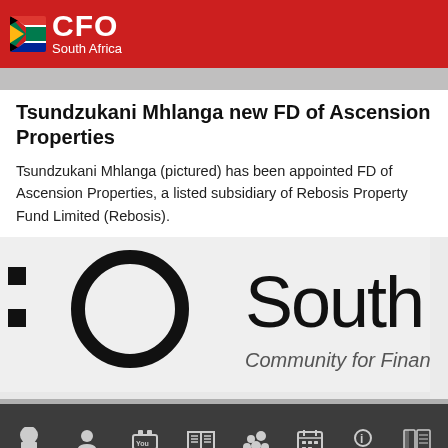CFO South Africa
Tsundzukani Mhlanga new FD of Ascension Properties
Tsundzukani Mhlanga (pictured) has been appointed FD of Ascension Properties, a listed subsidiary of Rebosis Property Fund Limited (Rebosis).
[Figure (logo): CFO South Africa logo large watermark — partial view showing 'O South' text and 'Community for Finan' tagline]
Home | Membership | CPD TV | Magazine | Photos | Events | About | Whitepaper